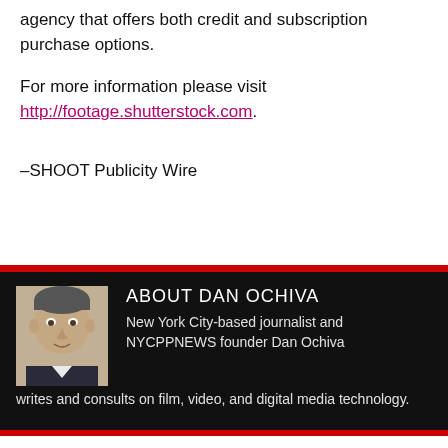agency that offers both credit and subscription purchase options.
For more information please visit http://footage.shutterstock.com.
–SHOOT Publicity Wire
ABOUT DAN OCHIVA
New York City-based journalist and NYCPPNEWS founder Dan Ochiva writes and consults on film, video, and digital media technology.